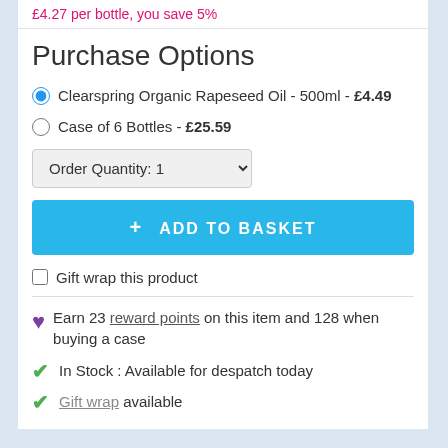£4.27 per bottle, you save 5%
Purchase Options
Clearspring Organic Rapeseed Oil - 500ml - £4.49
Case of 6 Bottles - £25.59
Order Quantity: 1
+ ADD TO BASKET
Gift wrap this product
Earn 23 reward points on this item and 128 when buying a case
In Stock : Available for despatch today
Gift wrap available